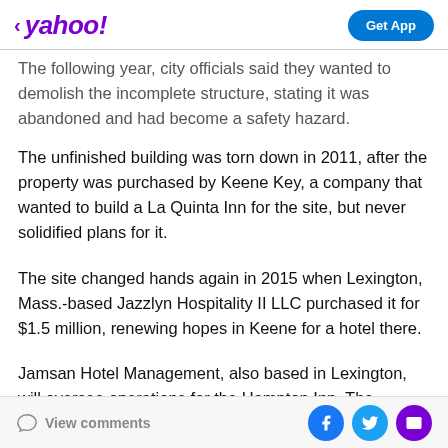< yahoo!  Get App
The following year, city officials said they wanted to demolish the incomplete structure, stating it was abandoned and had become a safety hazard.
The unfinished building was torn down in 2011, after the property was purchased by Keene Key, a company that wanted to build a La Quinta Inn for the site, but never solidified plans for it.
The site changed hands again in 2015 when Lexington, Mass.-based Jazzlyn Hospitality II LLC purchased it for $1.5 million, renewing hopes in Keene for a hotel there.
Jamsan Hotel Management, also based in Lexington, will oversee operations for the Hampton Inn. The company
View comments